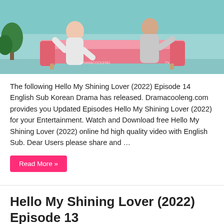[Figure (photo): Promotional image for Hello My Shining Lover (2022) showing two people sitting on a pink sofa against a teal/turquoise background]
The following Hello My Shining Lover (2022) Episode 14 English Sub Korean Drama has released. Dramacooleng.com provides you Updated Episodes Hello My Shining Lover (2022) for your Entertainment. Watch and Download free Hello My Shining Lover (2022) online hd high quality video with English Sub. Dear Users please share and …
Read More »
Hello My Shining Lover (2022) Episode 13 English Sub
[Figure (photo): Promotional image for Hello My Shining Lover (2022) Episode 13, partially visible at bottom]